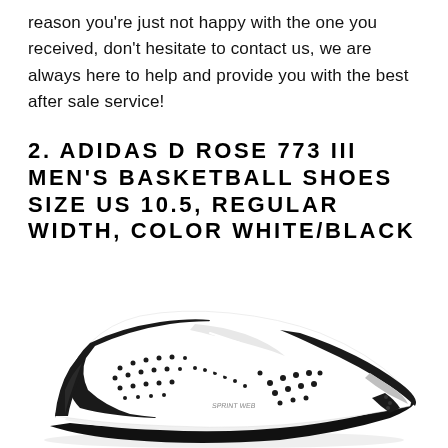reason you're just not happy with the one you received, don't hesitate to contact us, we are always here to help and provide you with the best after sale service!
2. ADIDAS D ROSE 773 III MEN'S BASKETBALL SHOES SIZE US 10.5, REGULAR WIDTH, COLOR WHITE/BLACK
[Figure (photo): Adidas D Rose 773 III basketball shoe in white and black colorway, shown from a side-front angle on a white background.]